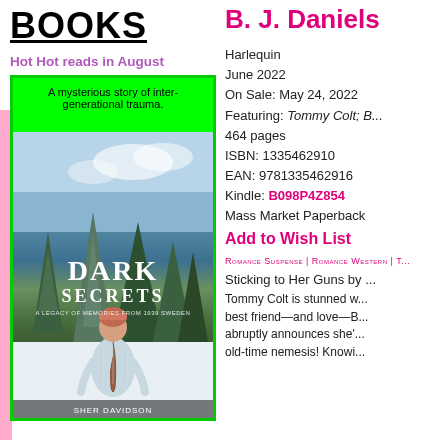BOOKS
Hot Hot reads in August
[Figure (photo): Book cover of 'Dark Secrets: A Legacy of Memories from 1939 Sweden' showing a woman with a red braid in a white sweater looking at snowy pine trees. Surrounded by bright green background with overlay text 'A mysterious story of inter-generational trauma.']
B. J. Daniels
Harlequin
June 2022
On Sale: May 24, 2022
Featuring: Tommy Colt; B...
464 pages
ISBN: 1335462910
EAN: 9781335462916
Kindle: B098P4Z854
Mass Market Paperback
Add to Wish List
Romance Suspense | Romance Western | T...
Sticking to Her Guns by ...
Tommy Colt is stunned w... best friend—and love—B... abruptly announces she'... old-time nemesis! Knowi...